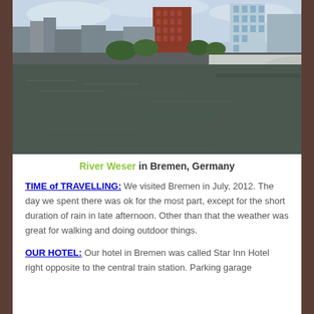[Figure (photo): Photograph of the River Weser in Bremen, Germany. Shows a calm river with a bridge on the right side, buildings along the far bank including a tall red brick building and modern office towers, trees along the waterfront, overcast sky.]
River Weser in Bremen, Germany
TIME of TRAVELLING: We visited Bremen in July, 2012. The day we spent there was ok for the most part, except for the short duration of rain in late afternoon. Other than that the weather was great for walking and doing outdoor things.
OUR HOTEL: Our hotel in Bremen was called Star Inn Hotel right opposite to the central train station. Parking garage